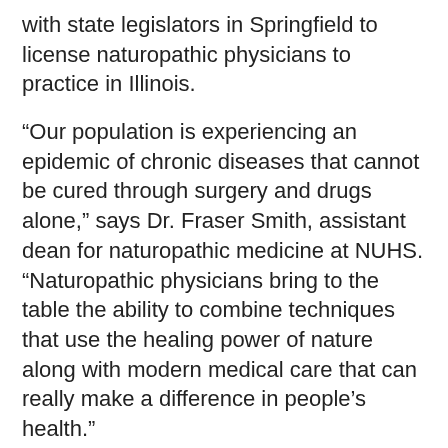with state legislators in Springfield to license naturopathic physicians to practice in Illinois.
“Our population is experiencing an epidemic of chronic diseases that cannot be cured through surgery and drugs alone,” says Dr. Fraser Smith, assistant dean for naturopathic medicine at NUHS. “Naturopathic physicians bring to the table the ability to combine techniques that use the healing power of nature along with modern medical care that can really make a difference in people’s health.”
The University is urging Illinois residents to call their state senators and representatives to support SB 1168 sponsored by Senator Iris Martinez, and